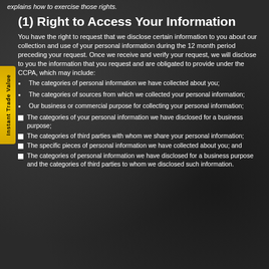explains how to exercise those rights.
(1) Right to Access Your Information
You have the right to request that we disclose certain information to you about our collection and use of your personal information during the 12 month period preceding your request. Once we receive and verify your request, we will disclose to you the information that you request and are obligated to provide under the CCPA, which may include:
The categories of personal information we have collected about you;
The categories of sources from which we collected your personal information;
Our business or commercial purpose for collecting your personal information;
The categories of your personal information we have disclosed for a business purpose;
The categories of third parties with whom we share your personal information;
The specific pieces of personal information we have collected about you; and
The categories of personal information we have disclosed for a business purpose and the categories of third parties to whom we disclosed such information.